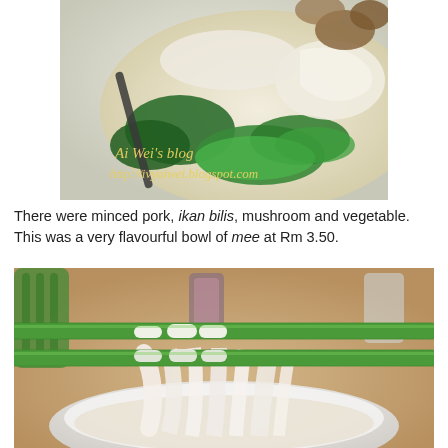[Figure (photo): Close-up photo of a bowl of noodle soup with green vegetables, mushrooms, and broth. Watermark text reads: Ai Wei's blog http://ivyaiwei.blogspot.com]
There were minced pork, ikan bilis, mushroom and vegetable. This was a very flavourful bowl of mee at Rm 3.50.
[Figure (photo): Close-up photo of white flat noodles held by green chopsticks above a bowl of noodle soup.]